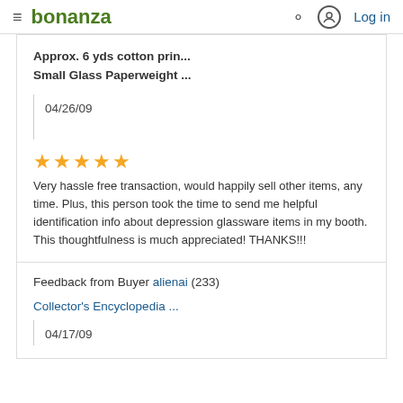≡ bonanza [search icon] [account icon] Log in
Approx. 6 yds cotton prin...
Small Glass Paperweight ...
04/26/09
★★★★★ Very hassle free transaction, would happily sell other items, any time. Plus, this person took the time to send me helpful identification info about depression glassware items in my booth. This thoughtfulness is much appreciated! THANKS!!!
Feedback from Buyer alienai (233)
Collector's Encyclopedia ...
04/17/09